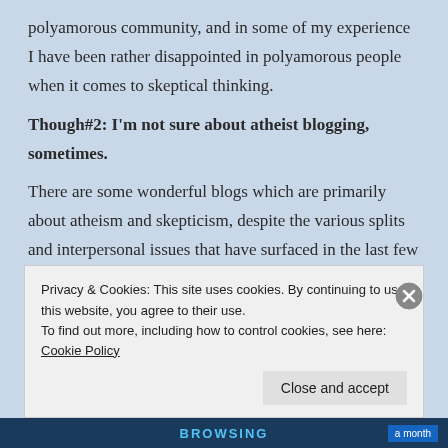polyamorous community, and in some of my experience I have been rather disappointed in polyamorous people when it comes to skeptical thinking.
Though#2: I'm not sure about atheist blogging, sometimes.
There are some wonderful blogs which are primarily about atheism and skepticism, despite the various splits and interpersonal issues that have surfaced in the last few years.  But there are some atheist writers who are
Privacy & Cookies: This site uses cookies. By continuing to use this website, you agree to their use.
To find out more, including how to control cookies, see here: Cookie Policy
Close and accept
BROWSING